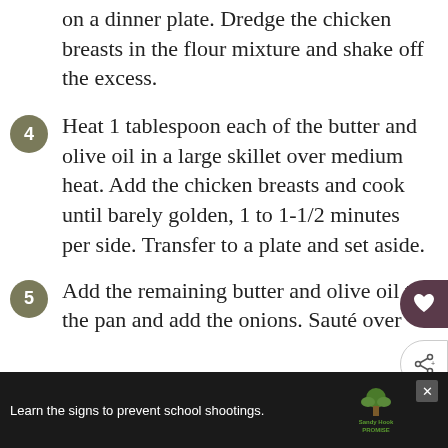on a dinner plate. Dredge the chicken breasts in the flour mixture and shake off the excess.
4 Heat 1 tablespoon each of the butter and olive oil in a large skillet over medium heat. Add the chicken breasts and cook until barely golden, 1 to 1-1/2 minutes per side. Transfer to a plate and set aside.
5 Add the remaining butter and olive oil to the pan and add the onions. Sauté over
Learn the signs to prevent school shootings. Sandy Hook Promise